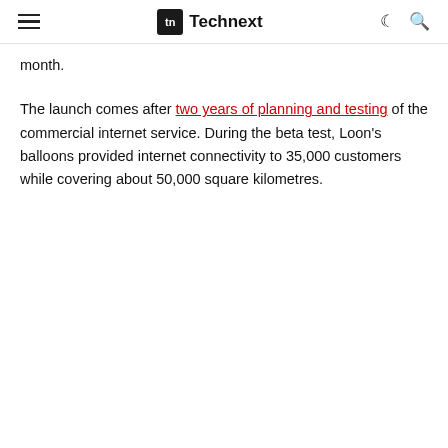Technext
month.
The launch comes after two years of planning and testing of the commercial internet service. During the beta test, Loon's balloons provided internet connectivity to 35,000 customers while covering about 50,000 square kilometres.